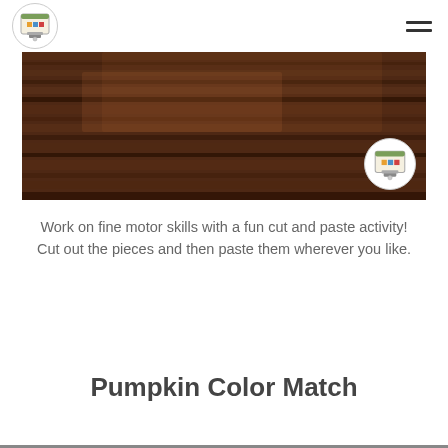Logo and navigation header
[Figure (photo): Wooden texture banner image with a circular logo watermark in the bottom right corner]
Work on fine motor skills with a fun cut and paste activity!
Cut out the pieces and then paste them wherever you like.
Pumpkin Color Match